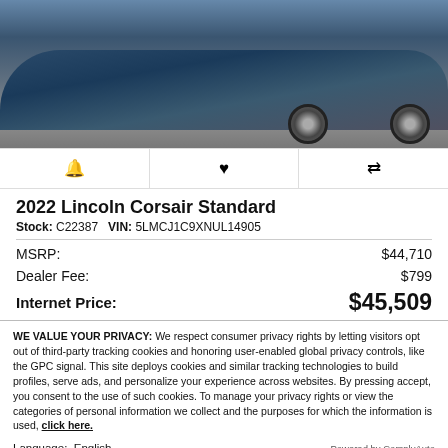[Figure (photo): Partial view of a blue 2022 Lincoln Corsair SUV photographed from the rear quarter, parked on a grey surface]
🔔  ♥  ⇄  (icon toolbar with bell, heart, compare icons)
2022 Lincoln Corsair Standard
Stock: C22387   VIN: 5LMCJ1C9XNUL14905
| Item | Price |
| --- | --- |
| MSRP: | $44,710 |
| Dealer Fee: | $799 |
| Internet Price: | $45,509 |
WE VALUE YOUR PRIVACY: We respect consumer privacy rights by letting visitors opt out of third-party tracking cookies and honoring user-enabled global privacy controls, like the GPC signal. This site deploys cookies and similar tracking technologies to build profiles, serve ads, and personalize your experience across websites. By pressing accept, you consent to the use of such cookies. To manage your privacy rights or view the categories of personal information we collect and the purposes for which the information is used, click here.
Language: English  ∨   Powered by ComplyAuto
Accept and Continue →   Privacy Policy   Live Chat